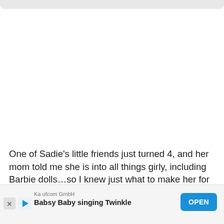[Figure (screenshot): Top navigation bar – rounded gray bar at top of mobile screenshot]
One of Sadie's little friends just turned 4, and her mom told me she is into all things girly, including Barbie dolls…so I knew just what to make her for her gift.  CLOTHES! (oh and we bought her a doll, too, Paleontologist Barbie, in case you were w
[Figure (screenshot): Mobile advertisement banner: Kaufcom GmbH – Babsy Baby singing Twinkle – OPEN button]